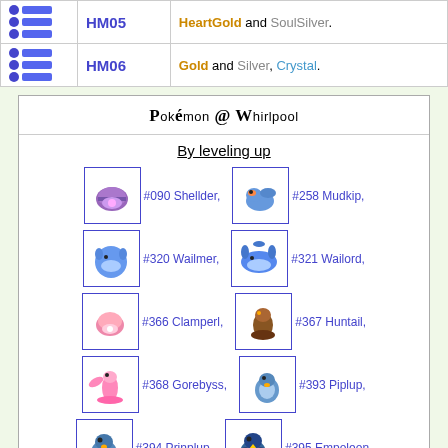| Icon | HM | Games |
| --- | --- | --- |
| [icons] | HM05 | HeartGold and SoulSilver. |
| [icons] | HM06 | Gold and Silver, Crystal. |
Pokémon @ Whirlpool
By leveling up
#090 Shellder,
#258 Mudkip,
#320 Wailmer,
#321 Wailord,
#366 Clamperl,
#367 Huntail,
#368 Gorebyss,
#393 Piplup,
#394 Prinplup,
#395 Empoleon,
#418 Buizel,
#419 Floatzel,
#456 Finneon,
#457 Lumineon,